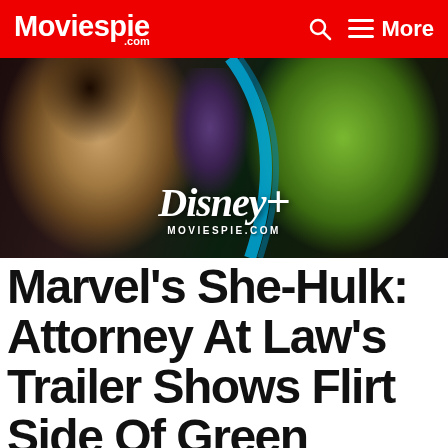Moviespie.com
[Figure (photo): Hero promotional image for Marvel's She-Hulk: Attorney At Law on Disney+, showing actress (Jennifer Walters) on left, She-Hulk green character in center background, and Hulk on right. Disney+ logo and MOVIESPIE.COM watermark overlaid.]
Marvel's She-Hulk: Attorney At Law's Trailer Shows Flirt Side Of Green Superhero Jennifer Walters